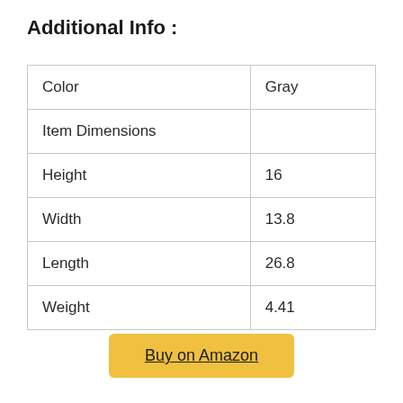Additional Info :
| Color | Gray |
| Item Dimensions |  |
| Height | 16 |
| Width | 13.8 |
| Length | 26.8 |
| Weight | 4.41 |
Buy on Amazon